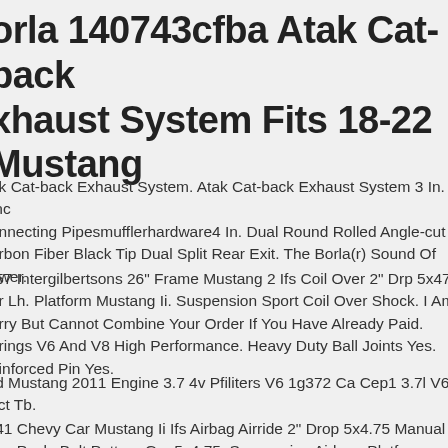Borla 140743cfba Atak Cat-back Exhaust System Fits 18-22 Mustang
Atak Cat-back Exhaust System. Atak Cat-back Exhaust System 3 In. Inc onnecting Pipesmufflerhardware4 In. Dual Round Rolled Angle-cut arbon Fiber Black Tip Dual Split Rear Exit. The Borla(r) Sound Of ower.
-57 Intergilbertsons 26" Frame Mustang 2 Ifs Coil Over 2" Drp 5x47 ur Lh. Platform Mustang Ii. Suspension Sport Coil Over Shock. I Am orry But Cannot Combine Your Order If You Have Already Paid. prings V6 And V8 High Performance. Heavy Duty Ball Joints Yes. einforced Pin Yes.
rd Mustang 2011 Engine 3.7 4v Pfiliters V6 1g372 Ca Cep1 3.7l V6 vct Tb.
-41 Chevy Car Mustang Ii Ifs Airbag Airride 2" Drop 5x4.75 Manual oor Pack. Bolt Pattern Gm 5x4.75. Suspension Airbag. Platform